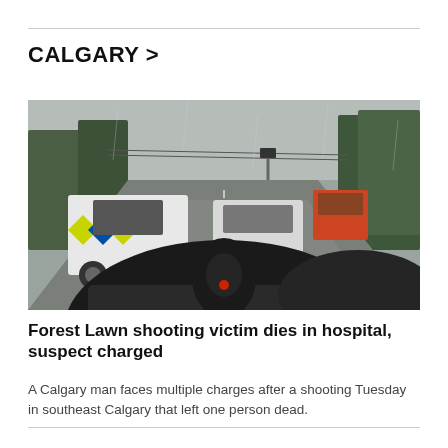CALGARY >
[Figure (photo): A rainy street scene showing police vehicles including a white SUV with yellow and blue chevron markings, and other vehicles on a wet road with trees in the background. Shot from inside a vehicle.]
Forest Lawn shooting victim dies in hospital, suspect charged
A Calgary man faces multiple charges after a shooting Tuesday in southeast Calgary that left one person dead.